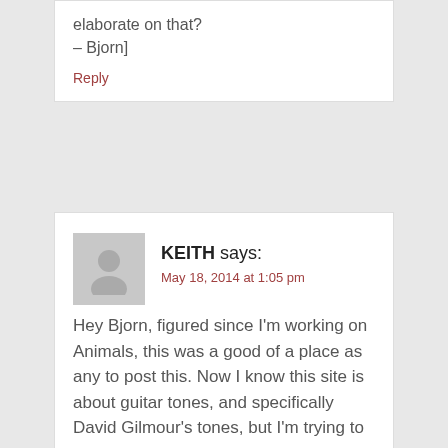elaborate on that? – Bjorn]
Reply
KEITH says:
May 18, 2014 at 1:05 pm
Hey Bjorn, figured since I'm working on Animals, this was a good of a place as any to post this. Now I know this site is about guitar tones, and specifically David Gilmour's tones, but I'm trying to